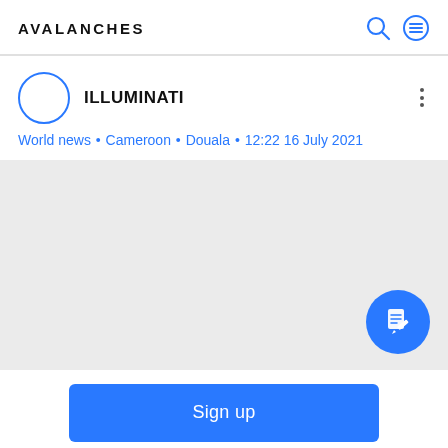AVALANCHES
ILLUMINATI
World news • Cameroon • Douala • 12:22 16 July 2021
[Figure (other): Gray content area placeholder with a blue circular FAB button containing a document/edit icon in the bottom right corner]
Sign up